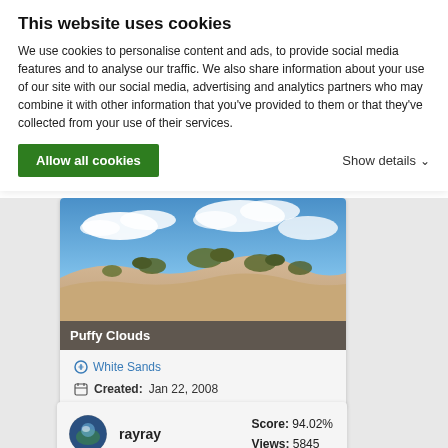This website uses cookies
We use cookies to personalise content and ads, to provide social media features and to analyse our traffic. We also share information about your use of our site with our social media, advertising and analytics partners who may combine it with other information that you've provided to them or that they've collected from your use of their services.
Allow all cookies
Show details
[Figure (photo): Desert sand dunes with sparse shrubs under a partly cloudy blue sky — Puffy Clouds photo at White Sands, created Jan 22, 2008]
White Sands
Created: Jan 22, 2008
[Figure (photo): User rayray avatar (circular thumbnail of landscape) with score 94.02% and views 5845, plus partial cloudy sky photo below]
rayray
Score: 94.02%
Views: 5845